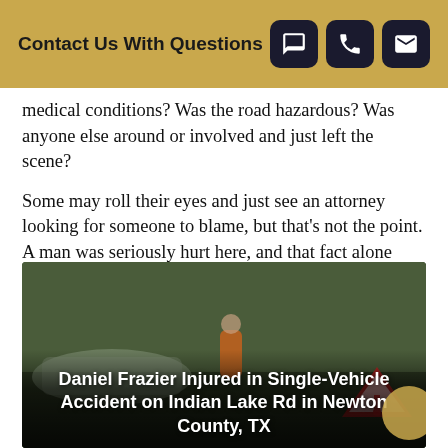Contact Us With Questions
medical conditions? Was the road hazardous? Was anyone else around or involved and just left the scene?
Some may roll their eyes and just see an attorney looking for someone to blame, but that's not the point. A man was seriously hurt here, and that fact alone warrants finding out how and why. Anything beyond that depends on what is learned.
[Figure (photo): Accident scene photo with emergency responder in orange vest visible in background, warning triangle in foreground, damaged vehicle. Text overlay reads: Daniel Frazier Injured in Single-Vehicle Accident on Indian Lake Rd in Newton County, TX]
Daniel Frazier Injured in Single-Vehicle Accident on Indian Lake Rd in Newton County, TX